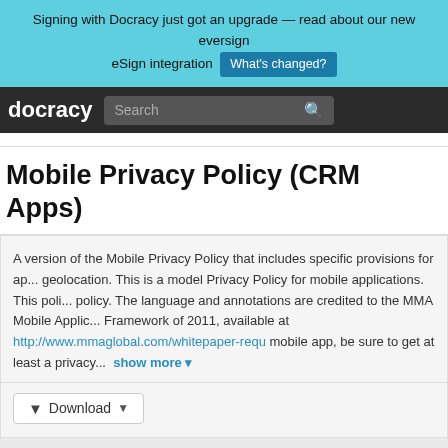Signing with Docracy just got an upgrade — read about our new eversign eSign integration  What's changed?
[Figure (screenshot): Docracy website navigation bar with search input]
Mobile Privacy Policy (CRM Apps)
A version of the Mobile Privacy Policy that includes specific provisions for ap... geolocation. This is a model Privacy Policy for mobile applications. This poli... policy. The language and annotations are credited to the MMA Mobile Applic... Framework of 2011, available at http://www.mmaglobal.com/whitepaper-requ mobile app, be sure to get at least a privacy...  show more ▼
Download
PRIVACY POLICY MODEL FOR APPLICATIONS